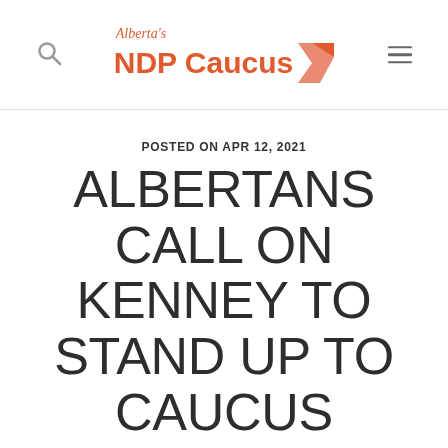[Figure (logo): Alberta's NDP Caucus logo with orange text and arrow graphic, flanked by search icon on left and hamburger menu icon on right]
POSTED ON APR 12, 2021
ALBERTANS CALL ON KENNEY TO STAND UP TO CAUCUS MEMBERS OPPOSED TO